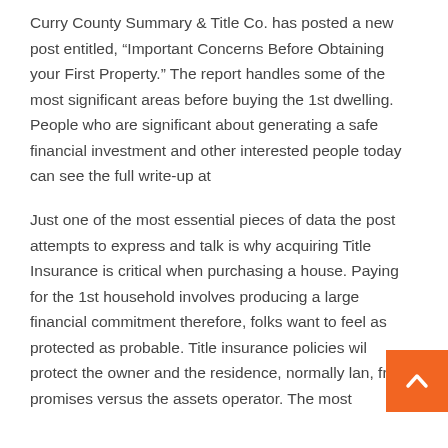Curry County Summary & Title Co. has posted a new post entitled, “Important Concerns Before Obtaining your First Property.” The report handles some of the most significant areas before buying the 1st dwelling. People who are significant about generating a safe financial investment and other interested people today can see the full write-up at
Just one of the most essential pieces of data the post attempts to express and talk is why acquiring Title Insurance is critical when purchasing a house. Paying for the 1st household involves producing a large financial commitment therefore, folks want to feel as protected as probable. Title insurance policies will protect the owner and the residence, normally land, from promises versus the assets operator. The most